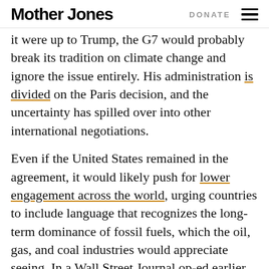Mother Jones  DONATE
it were up to Trump, the G7 would probably break its tradition on climate change and ignore the issue entirely. His administration is divided on the Paris decision, and the uncertainty has spilled over into other international negotiations.
Even if the United States remained in the agreement, it would likely push for lower engagement across the world, urging countries to include language that recognizes the long-term dominance of fossil fuels, which the oil, gas, and coal industries would appreciate seeing. In a Wall Street Journal op-ed earlier this month, Rep. Kevin Cramer (R-N.D.), who was an energy adviser on Trump's